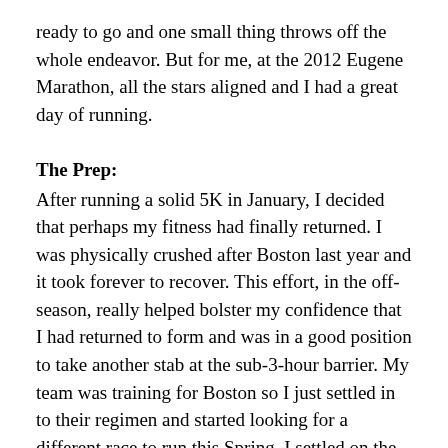ready to go and one small thing throws off the whole endeavor. But for me, at the 2012 Eugene Marathon, all the stars aligned and I had a great day of running.
The Prep:
After running a solid 5K in January, I decided that perhaps my fitness had finally returned. I was physically crushed after Boston last year and it took forever to recover. This effort, in the off-season, really helped bolster my confidence that I had returned to form and was in a good position to take another stab at the sub-3-hour barrier. My team was training for Boston so I just settled in to their regimen and started looking for a different race to run this Spring. I settled on the weekend of April 29th since it seemed to a) fit my schedule well and b) not push me too far out of the team's cycle. This would give me a couple more weeks to prepare, the